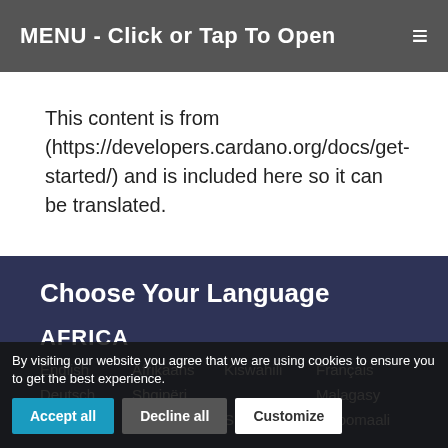MENU - Click or Tap To Open
This content is from (https://developers.cardano.org/docs/get-started/) and is included here so it can be translated.
Choose Your Language
AFRICA
English   Afrikaans   Kiswahili   Français
Deutsch   Shqipëri   Malagasy
Portugues   Sesotho   Shona   Afsoomaali
By visiting our website you agree that we are using cookies to ensure you to get the best experience.